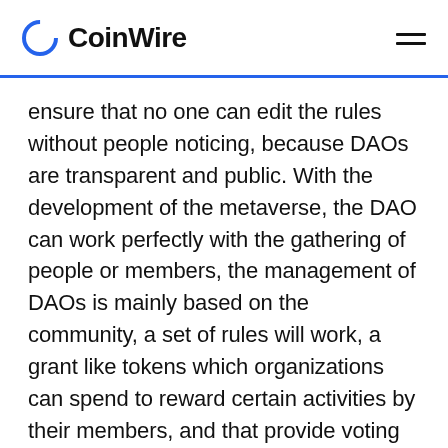CoinWire
ensure that no one can edit the rules without people noticing, because DAOs are transparent and public. With the development of the metaverse, the DAO can work perfectly with the gathering of people or members, the management of DAOs is mainly based on the community, a set of rules will work, a grant like tokens which organizations can spend to reward certain activities by their members, and that provide voting rights to establish operating rules. In addition, and most importantly, is a good and secure structure that allows any investor